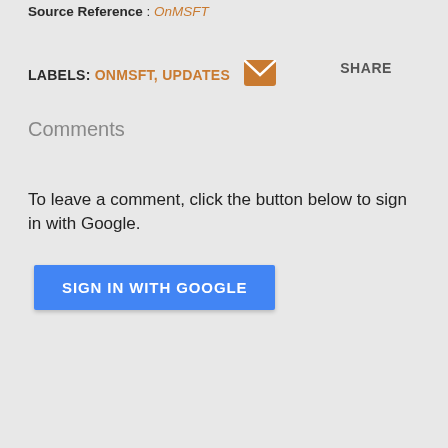Source Reference : OnMSFT
LABELS: ONMSFT, UPDATES   SHARE
Comments
To leave a comment, click the button below to sign in with Google.
SIGN IN WITH GOOGLE